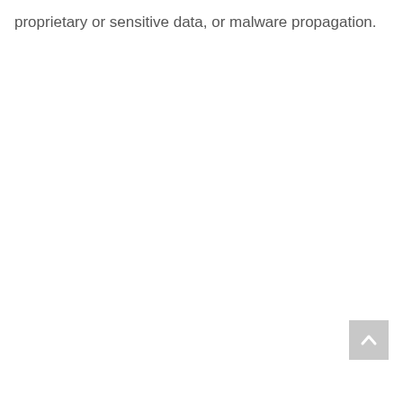proprietary or sensitive data, or malware propagation.
[Figure (other): A gray square button with an upward-pointing chevron/arrow icon, used as a scroll-to-top navigation button.]